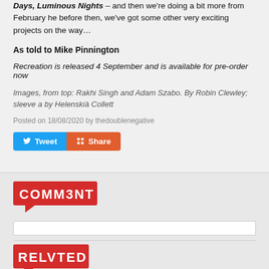Days, Luminous Nights – and then we're doing a bit more from February he before then, we've got some other very exciting projects on the way…
As told to Mike Pinnington
Recreation is released 4 September and is available for pre-order now
Images, from top: Rakhi Singh and Adam Szabo. By Robin Clewley; sleeve a by Helenskià Collett
Posted on 18/08/2020 by thedoublenegative
[Figure (other): Tweet and Share social media buttons]
[Figure (logo): COMMENT logo in red speech bubble style]
[Figure (other): Comment input bar]
[Figure (logo): RELATED logo in red speech bubble style]
[Figure (photo): Two related article thumbnail images side by side, dark photos]